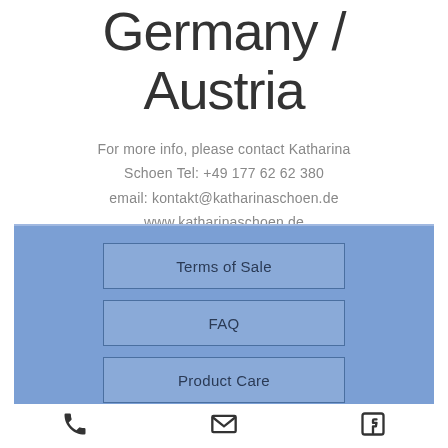Germany / Austria
For more info, please contact Katharina Schoen Tel: +49 177 62 62 380
email: kontakt@katharinaschoen.de
www.katharinaschoen.de
[Figure (infographic): Blue panel with three navigation buttons: Terms of Sale, FAQ, Product Care]
[Figure (infographic): Footer icons: phone, email, Facebook]